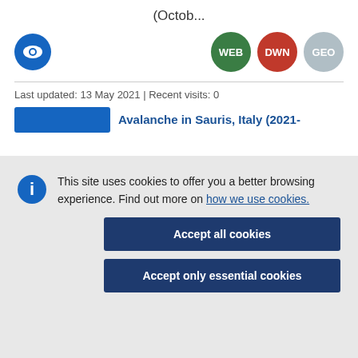(Octob...
[Figure (logo): Eye icon logo in blue circle, and three badge buttons: WEB (green), DWN (red), GEO (grey)]
Last updated: 13 May 2021 | Recent visits: 0
Avalanche in Sauris, Italy (2021-
This site uses cookies to offer you a better browsing experience. Find out more on how we use cookies.
Accept all cookies
Accept only essential cookies